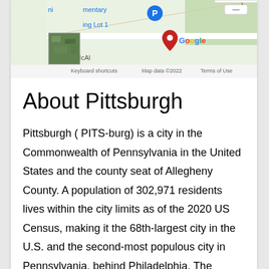[Figure (map): Google Maps screenshot showing a location near McAleer area with a parking lot marker, street map, and aerial thumbnail. Shows 'Keyboard shortcuts', 'Map data ©2022', 'Terms of Use' at bottom.]
About Pittsburgh
Pittsburgh ( PITS-burg) is a city in the Commonwealth of Pennsylvania in the United States and the county seat of Allegheny County. A population of 302,971 residents lives within the city limits as of the 2020 US Census, making it the 68th-largest city in the U.S. and the second-most populous city in Pennsylvania, behind Philadelphia. The Pittsburgh metropolitan area is the anchor of Western Pennsylvania; its population of 2.37 million is the largest in both the Ohio Valley